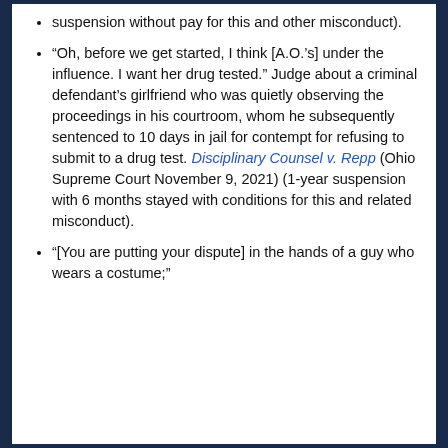suspension without pay for this and other misconduct).
“Oh, before we get started, I think [A.O.’s] under the influence. I want her drug tested.” Judge about a criminal defendant’s girlfriend who was quietly observing the proceedings in his courtroom, whom he subsequently sentenced to 10 days in jail for contempt for refusing to submit to a drug test. Disciplinary Counsel v. Repp (Ohio Supreme Court November 9, 2021) (1-year suspension with 6 months stayed with conditions for this and related misconduct).
“[You are putting your dispute] in the hands of a guy who wears a costume;”